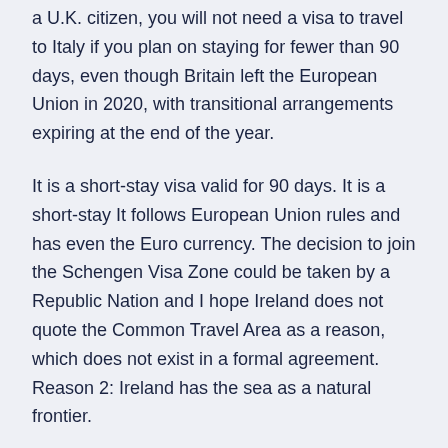a U.K. citizen, you will not need a visa to travel to Italy if you plan on staying for fewer than 90 days, even though Britain left the European Union in 2020, with transitional arrangements expiring at the end of the year.
It is a short-stay visa valid for 90 days. It is a short-stay It follows European Union rules and has even the Euro currency. The decision to join the Schengen Visa Zone could be taken by a Republic Nation and I hope Ireland does not quote the Common Travel Area as a reason, which does not exist in a formal agreement. Reason 2: Ireland has the sea as a natural frontier.
Sep 21, 2020 · The EU agrees a waiver for the Euro currency &